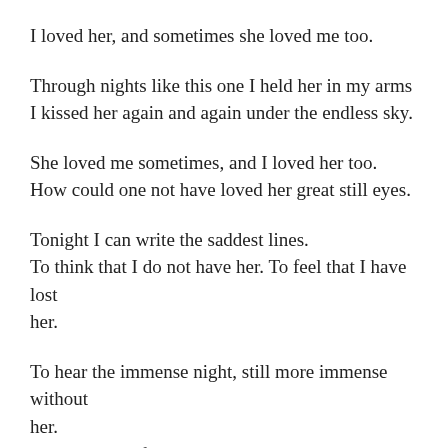I loved her, and sometimes she loved me too.
Through nights like this one I held her in my arms
I kissed her again and again under the endless sky.
She loved me sometimes, and I loved her too.
How could one not have loved her great still eyes.
Tonight I can write the saddest lines.
To think that I do not have her. To feel that I have lost her.
To hear the immense night, still more immense without her.
And the verse falls to the soul like dew to the pasture.
What does it matter that my love could not keep her.